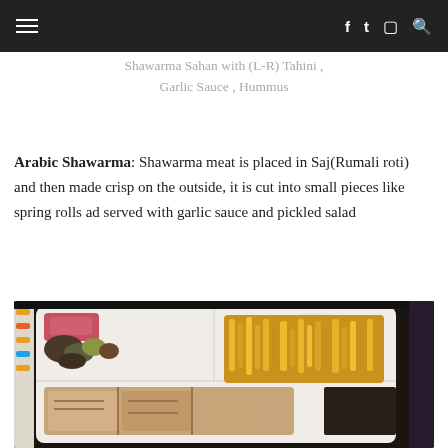≡   f  t  ☐  🔍
Shawarma Sahan with (L-R) Tahini , Garlic Sauce , Hummus
Arabic Shawarma: Shawarma meat is placed in Saj(Rumali roti) and then made crisp on the outside, it is cut into small pieces like spring rolls ad served with garlic sauce and pickled salad
[Figure (photo): A styrofoam takeout tray containing Arabic Shawarma pieces (crispy flatbread wraps), french fries, pickled vegetables with olives, pink pickled items, and a white sauce/salad, placed on a dark table with a menu visible on the left side.]